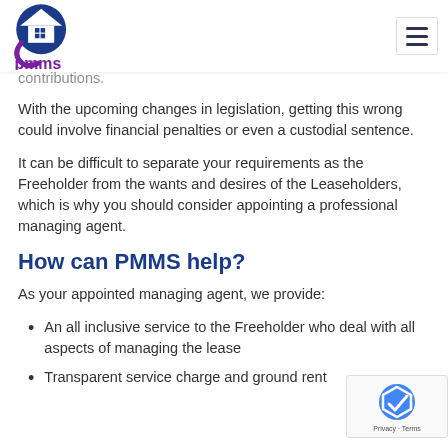pmms logo and navigation
contributions.
With the upcoming changes in legislation, getting this wrong could involve financial penalties or even a custodial sentence.
It can be difficult to separate your requirements as the Freeholder from the wants and desires of the Leaseholders, which is why you should consider appointing a professional managing agent.
How can PMMS help?
As your appointed managing agent, we provide:
An all inclusive service to the Freeholder who deal with all aspects of managing the lease
Transparent service charge and ground rent